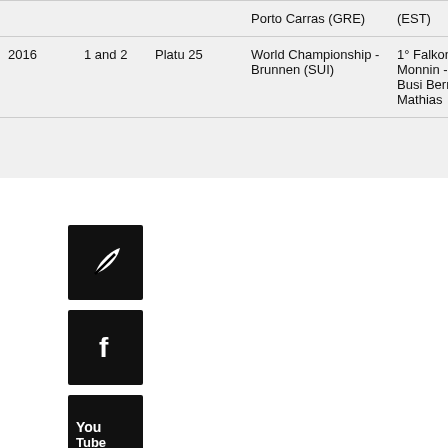| Year | Place | Class | Event | Results |
| --- | --- | --- | --- | --- |
|  |  |  | Porto Carras (GRE) | (EST) |
| 2016 | 1 and 2 | Platu 25 | World Championship - Brunnen (SUI) | 1° Falkone Erik Monnin - 2° Super Busi Bermejo Mathias |
[Figure (logo): Velscasa/sailing brand logo icon - black square with white leaf/feather symbol]
[Figure (logo): Facebook social media icon - black square with white 'f' letter]
[Figure (logo): YouTube social media icon - black square with 'You Tube' text]
[Figure (logo): LinkedIn social media icon - black square with 'in' text]